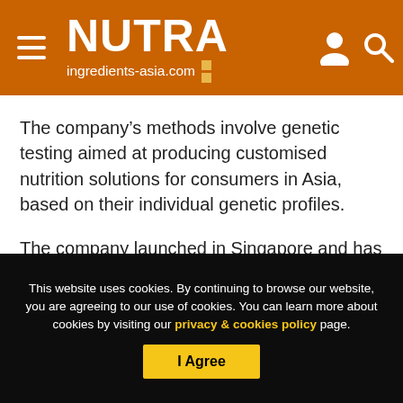NUTRA ingredients-asia.com
The company’s methods involve genetic testing aimed at producing customised nutrition solutions for consumers in Asia, based on their individual genetic profiles.
The company launched in Singapore and has since expanded to Thailand.
[Figure (logo): Lumina Intelligence logo on a pink/salmon background]
This website uses cookies. By continuing to browse our website, you are agreeing to our use of cookies. You can learn more about cookies by visiting our privacy & cookies policy page.
I Agree